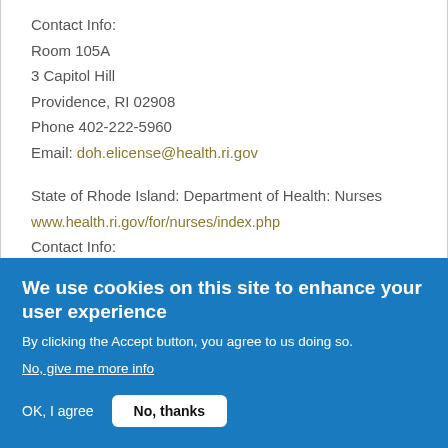Contact Info:
Room 105A
3 Capitol Hill
Providence, RI 02908
Phone 402-222-5960
Email: doh.elicense@health.ri.gov
State of Rhode Island: Department of Health: Nurses
www.health.ri.gov/for/nurses/index.php
Contact Info:
Room 105A
We use cookies on this site to enhance your user experience
By clicking the Accept button, you agree to us doing so.
No, give me more info
OK, I agree
No, thanks